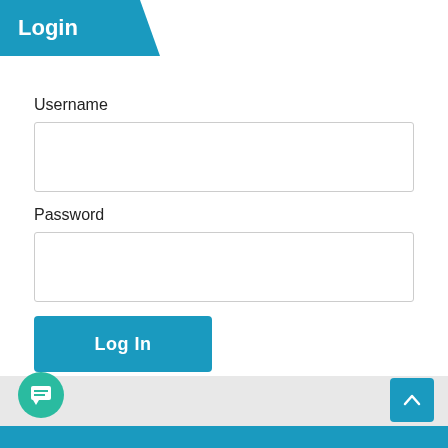Login
Username
[Figure (other): Username input text field (empty)]
Password
[Figure (other): Password input text field (empty)]
[Figure (other): Log In button (blue, rounded)]
Lost Password
[Figure (other): Chat bubble icon button (teal, circular)]
[Figure (other): Scroll to top button (blue, square with up arrow)]